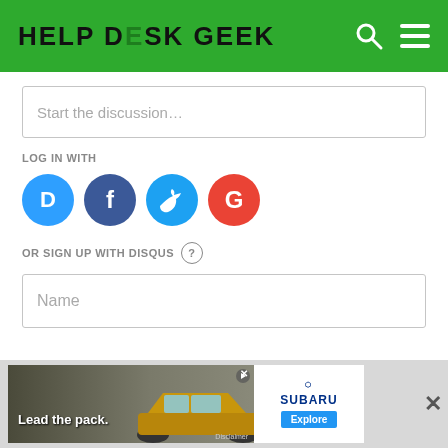HELP DESK GEEK
Start the discussion…
LOG IN WITH
[Figure (logo): Social login icons: Disqus (blue circle with D), Facebook (dark blue circle with f), Twitter (light blue circle with bird), Google (red circle with G)]
OR SIGN UP WITH DISQUS ?
Name
Be the first to comment.
[Figure (photo): Subaru advertisement banner: 'Lead the pack.' text with a gold/yellow Subaru SUV and Subaru logo with Explore button]